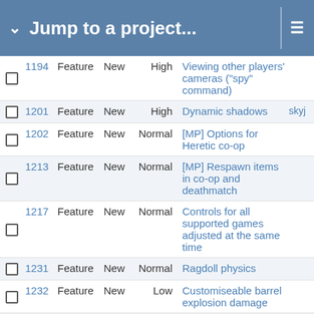Jump to a project...
|  | # | Type | Status | Priority | Subject |  |
| --- | --- | --- | --- | --- | --- | --- |
| ☐ | 1194 | Feature | New | High | Viewing other players' cameras ("spy" command) |  |
| ☐ | 1201 | Feature | New | High | Dynamic shadows | skyj |
| ☐ | 1202 | Feature | New | Normal | [MP] Options for Heretic co-op |  |
| ☐ | 1213 | Feature | New | Normal | [MP] Respawn items in co-op and deathmatch |  |
| ☐ | 1217 | Feature | New | Normal | Controls for all supported games adjusted at the same time |  |
| ☐ | 1231 | Feature | New | Normal | Ragdoll physics |  |
| ☐ | 1232 | Feature | New | Low | Customiseable barrel explosion damage |  |
| ☐ | 1233 | Feature | New | High | Surface decorations using 3D models |  |
| ☐ | 1242 | Feature | New | High | Player weapon particle muzzle flashes (for external |  |